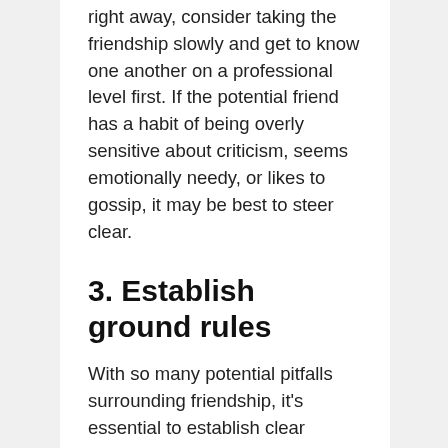right away, consider taking the friendship slowly and get to know one another on a professional level first. If the potential friend has a habit of being overly sensitive about criticism, seems emotionally needy, or likes to gossip, it may be best to steer clear.
3. Establish ground rules
With so many potential pitfalls surrounding friendship, it's essential to establish clear ground rules right off the bat. Some people find it's easiest to simply not talk about work outside the office at all,